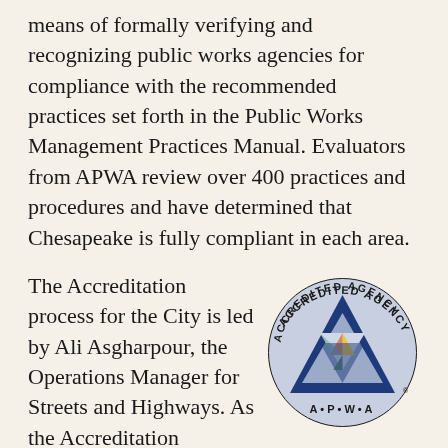means of formally verifying and recognizing public works agencies for compliance with the recommended practices set forth in the Public Works Management Practices Manual. Evaluators from APWA review over 400 practices and procedures and have determined that Chesapeake is fully compliant in each area.
The Accreditation process for the City is led by Ali Asgharpour, the Operations Manager for Streets and Highways. As the Accreditation Program Manager, he oversees the self-assessment and review of 26 individual chapters.
[Figure (logo): APWA Accredited Agency circular logo with blue triangular A symbol and colored geometric shapes inside, text reading ACCREDITED AGENCY around the top and A•P•W•A around the bottom]